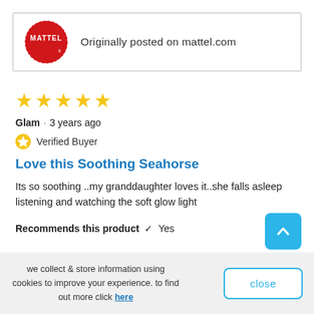[Figure (logo): Mattel logo - red circular badge with white MATTEL text and registered trademark symbol, alongside text 'Originally posted on mattel.com']
[Figure (other): Five gold star rating icons]
Glam · 3 years ago
Verified Buyer
Love this Soothing Seahorse
Its so soothing ..my granddaughter loves it..she falls asleep listening and watching the soft glow light
Recommends this product ✔ Yes
we collect & store information using cookies to improve your experience. to find out more click here